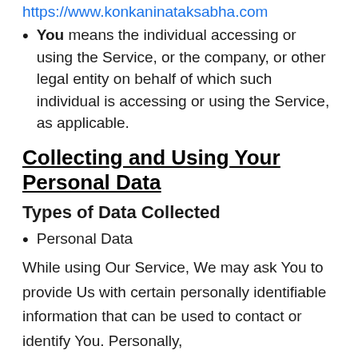https://www.konkaninataksabha.com
You means the individual accessing or using the Service, or the company, or other legal entity on behalf of which such individual is accessing or using the Service, as applicable.
Collecting and Using Your Personal Data
Types of Data Collected
Personal Data
While using Our Service, We may ask You to provide Us with certain personally identifiable information that can be used to contact or identify You. Personally,